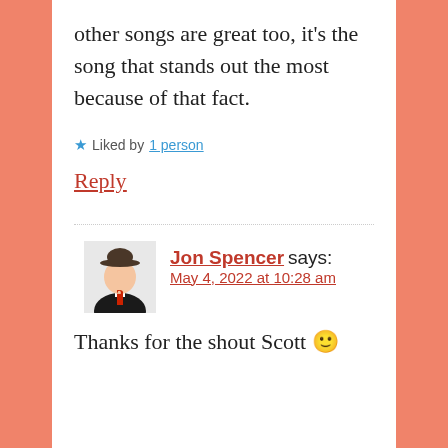other songs are great too, it's the song that stands out the most because of that fact.
★ Liked by 1 person
Reply
[Figure (illustration): Avatar icon showing a silhouette with a bowler hat and a red question mark on a white shirt]
Jon Spencer says: May 4, 2022 at 10:28 am
Thanks for the shout Scott 🙂